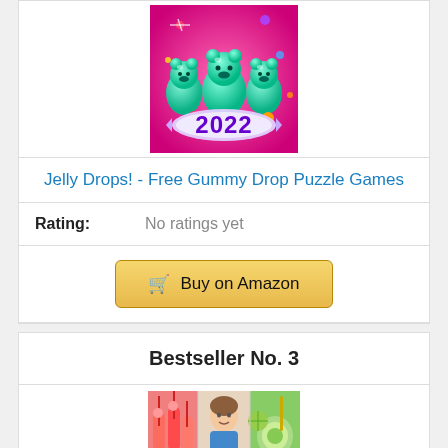[Figure (screenshot): Game app icon for Jelly Drops showing three teal gummy bears with colorful candy pieces and '2022' text on a pink/magenta background]
Jelly Drops! - Free Gummy Drop Puzzle Games
Rating: No ratings yet
Buy on Amazon
Bestseller No. 3
[Figure (photo): Collage of photos showing drinks and a woman, related to a bestseller product]